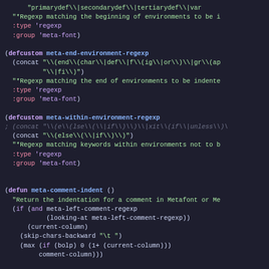Emacs Lisp source code showing defcustom and defun declarations for meta-font mode indentation
[Figure (screenshot): Emacs-style syntax-highlighted Lisp source code on dark background showing meta-end-environment-regexp, meta-within-environment-regexp defcustoms, and meta-comment-indent, meta-indent-line defuns]